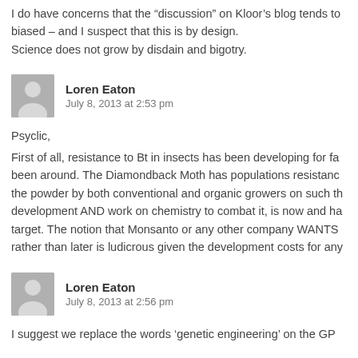I do have concerns that the “discussion” on Kloor’s blog tends to biased – and I suspect that this is by design.
Science does not grow by disdain and bigotry.
Loren Eaton
July 8, 2013 at 2:53 pm
Psyclic,
First of all, resistance to Bt in insects has been developing for fa been around. The Diamondback Moth has populations resistanc the powder by both conventional and organic growers on such th development AND work on chemistry to combat it, is now and ha target. The notion that Monsanto or any other company WANTS rather than later is ludicrous given the development costs for any
Loren Eaton
July 8, 2013 at 2:56 pm
I suggest we replace the words ‘genetic engineering’ on the GP